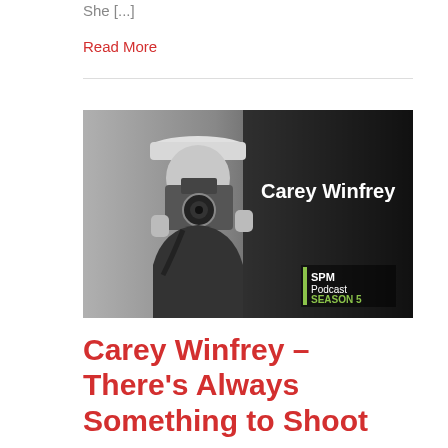She [...]
Read More
[Figure (photo): Black and white photo of a person wearing a cap with letter P, holding a camera up to their face. Text overlay reads 'Carey Winfrey'. Bottom right shows 'SPM Podcast SEASON 5' branding.]
Carey Winfrey – There's Always Something to Shoot